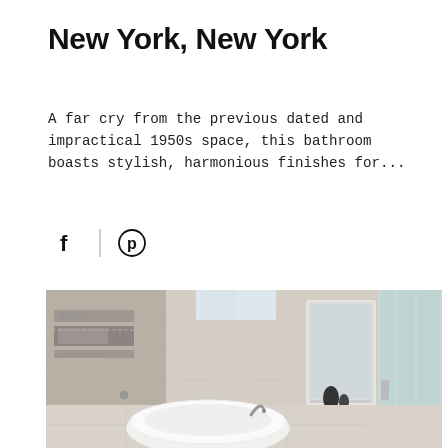New York, New York
A far cry from the previous dated and impractical 1950s space, this bathroom boasts stylish, harmonious finishes for...
[Figure (illustration): Social media icons: Facebook (f) and Pinterest (circle with P) separated by a vertical divider line]
[Figure (photo): Modern luxury bathroom with freestanding white oval bathtub, stone/travertine walls, frosted glass shower enclosure, and built-in mirror niche with shelving]